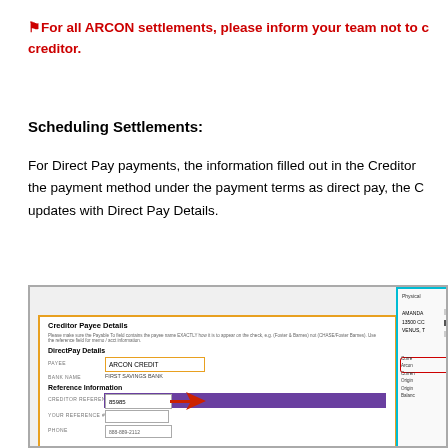⚠For all ARCON settlements, please inform your team not to call the creditor.
Scheduling Settlements:
For Direct Pay payments, the information filled out in the Creditor Payee Details updates with Direct Pay Details.
[Figure (screenshot): Screenshot of a settlement scheduling form showing Creditor Payee Details with DirectPay Details section. An orange-bordered form shows fields including PAYEE (ARCON CREDIT), BANK NAME (FIRST SAVINGS BANK), Reference Information with CREDITOR REFERENCE # field showing 85985, highlighted with a purple arrow bar and red arrow pointing to it. A cyan-bordered right panel shows account information. A red circle highlights text on the right side.]